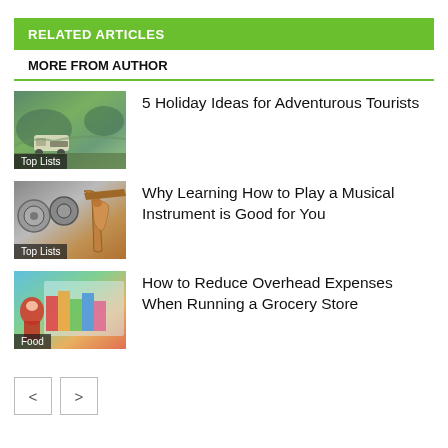RELATED ARTICLES
MORE FROM AUTHOR
[Figure (photo): Van driving on a scenic road with hills and water in the background]
5 Holiday Ideas for Adventurous Tourists
[Figure (photo): Musical instruments including cymbals/drums and a guitar]
Why Learning How to Play a Musical Instrument is Good for You
[Figure (photo): Woman in red shirt at a grocery store with colorful products]
How to Reduce Overhead Expenses When Running a Grocery Store